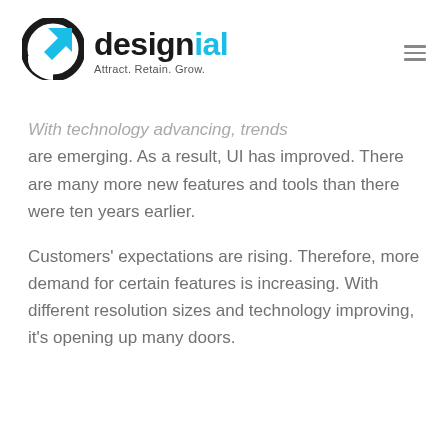designial — Attract. Retain. Grow.
With technology advancing, trends are emerging. As a result, UI has improved. There are many more new features and tools than there were ten years earlier.
Customers' expectations are rising. Therefore, more demand for certain features is increasing. With different resolution sizes and technology improving, it's opening up many doors.